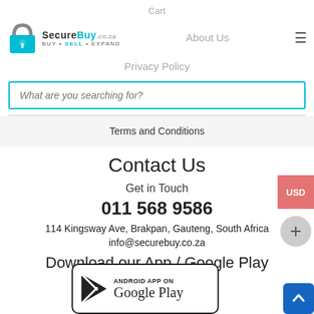Cart
[Figure (logo): SecureBuy logo with padlock icon and tagline BUY • SELL • EXPAND]
About Us
Privacy Policy
What are you searching for?
Terms and Conditions
Contact Us
Get in Touch
011 568 9586
114 Kingsway Ave, Brakpan, Gauteng, South Africa info@securebuy.co.za
Download our App / Google Play
[Figure (screenshot): Google Play Store badge showing ANDROID APP ON Google Play with play button icon]